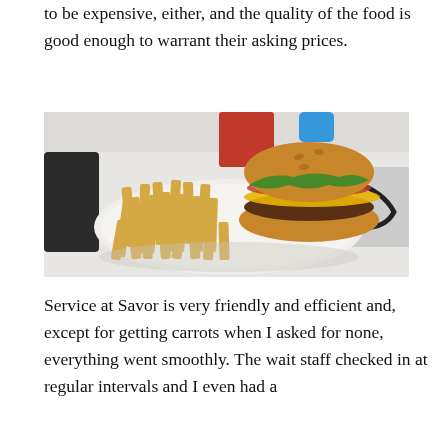to be expensive, either, and the quality of the food is good enough to warrant their asking prices.
[Figure (photo): A plate of french fries and a cheeseburger with lettuce and tomato, on a white plate on a white tablecloth. A red cup is visible in the background.]
Service at Savor is very friendly and efficient and, except for getting carrots when I asked for none, everything went smoothly. The wait staff checked in at regular intervals and I even had a